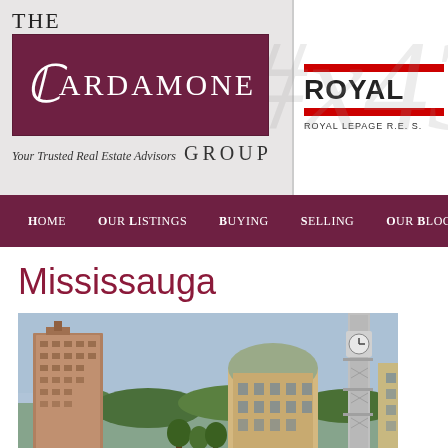[Figure (logo): The Cardamone Group logo with maroon background and tagline 'Your Trusted Real Estate Advisors']
[Figure (logo): Royal LePage R.E.S. logo with red bars]
Home  Our Listings  Buying  Selling  Our Blog
Mississauga
[Figure (photo): Aerial cityscape photo of Mississauga downtown with skyscrapers, a clock tower, and city hall buildings]